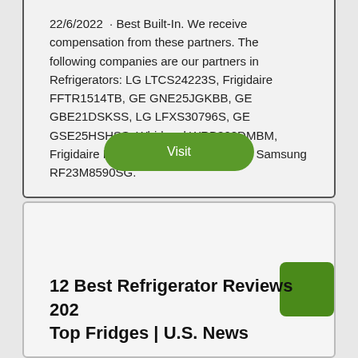22/6/2022 · Best Built-In. We receive compensation from these partners. The following companies are our partners in Refrigerators: LG LTCS24223S, Frigidaire FFTR1514TB, GE GNE25JGKBB, GE GBE21DSKSS, LG LFXS30796S, GE GSE25HSHSS, Whirlpool WRB322DMBM, Frigidaire FFSS2625TS, Big Chill, and Samsung RF23M8590SG.
Visit
12 Best Refrigerator Reviews 202… Top Fridges | U.S. News